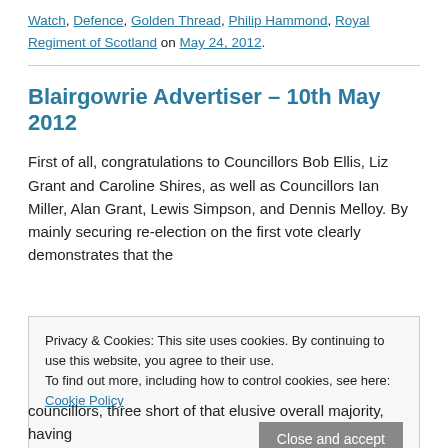Watch, Defence, Golden Thread, Philip Hammond, Royal Regiment of Scotland on May 24, 2012.
Blairgowrie Advertiser – 10th May 2012
First of all, congratulations to Councillors Bob Ellis, Liz Grant and Caroline Shires, as well as Councillors Ian Miller, Alan Grant, Lewis Simpson, and Dennis Melloy. By mainly securing re-election on the first vote clearly demonstrates that the
Privacy & Cookies: This site uses cookies. By continuing to use this website, you agree to their use.
To find out more, including how to control cookies, see here: Cookie Policy
councillors, three short of that elusive overall majority, having